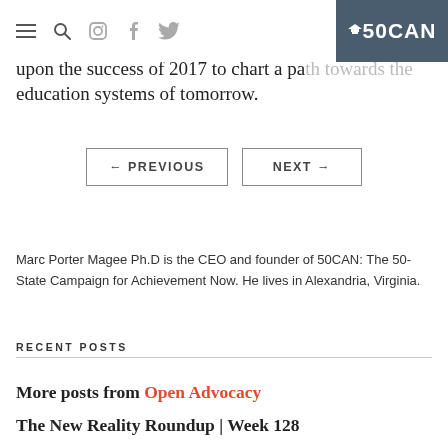50CAN navigation header with menu, search, Instagram, Facebook, Twitter icons and 50CAN logo
upon the success of 2017 to chart a path towards the education systems of tomorrow.
← PREVIOUS    NEXT →
Marc Porter Magee Ph.D is the CEO and founder of 50CAN: The 50-State Campaign for Achievement Now. He lives in Alexandria, Virginia.
RECENT POSTS
More posts from Open Advocacy
The New Reality Roundup | Week 128